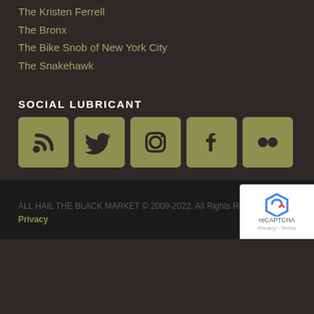The Kristen Ferrell
The Bronx
The Bike Snob of New York City
The Snakehawk
SOCIAL LUBRICANT
[Figure (infographic): Five social media icon buttons in golden/olive square rounded boxes: RSS feed, Twitter bird, Instagram camera, Facebook f, Flickr dots]
ALL HAIL THE BLACK MARKET © 2009-2022. All Rights Reserved. Privacy